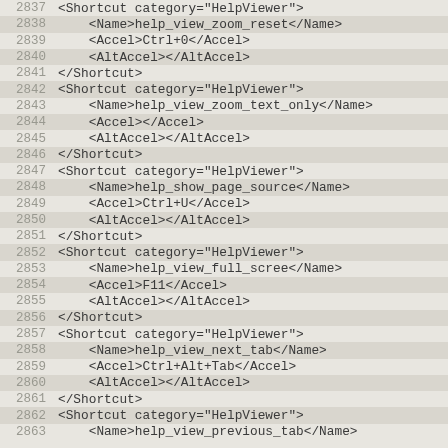Code listing lines 2837–2863, XML shortcut definitions for HelpViewer category including help_view_zoom_reset, help_view_zoom_text_only, help_show_page_source, help_view_full_scree, help_view_next_tab, and help_view_previous_tab entries with Name, Accel, and AltAccel child elements.